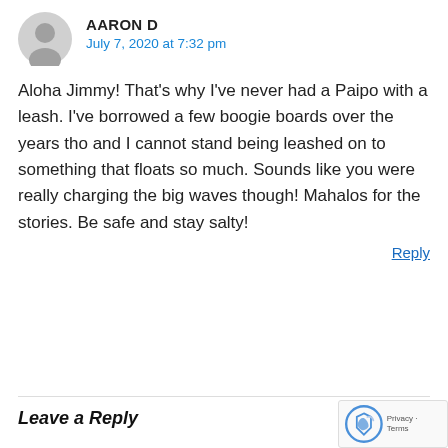AARON D
July 7, 2020 at 7:32 pm
Aloha Jimmy! That's why I've never had a Paipo with a leash. I've borrowed a few boogie boards over the years tho and I cannot stand being leashed on to something that floats so much. Sounds like you were really charging the big waves though! Mahalos for the stories. Be safe and stay salty!
Reply
Leave a Reply
Your email address will not be published. Required fields are marked *